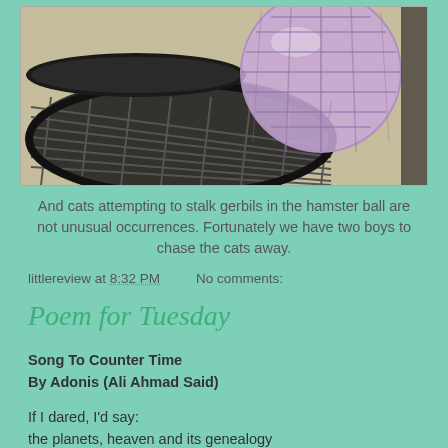[Figure (photo): Photo of a purple hamster ball on a black grid/mesh surface with sandy/beige background]
And cats attempting to stalk gerbils in the hamster ball are not unusual occurrences. Fortunately we have two boys to chase the cats away.
littlereview at 8:32 PM    No comments:
Poem for Tuesday
Song To Counter Time
By Adonis (Ali Ahmad Said)
If I dared, I'd say:
the planets, heaven and its genealogy